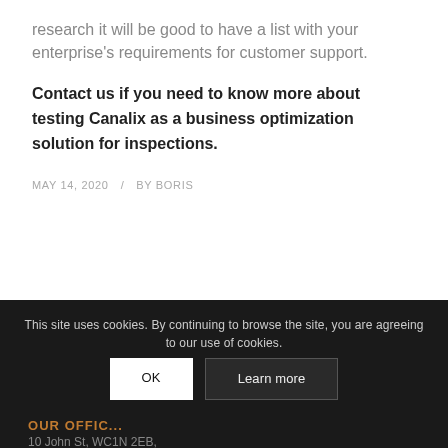research it will be good to have a list with your enterprise's requirements for customer support.
Contact us if you need to know more about testing Canalix as a business optimization solution for inspections.
MAY 14, 2020  /  BY BORIS
This site uses cookies. By continuing to browse the site, you are agreeing to our use of cookies. OK  Learn more
OUR OFFIC...
10 John St, WC1N 2EB,